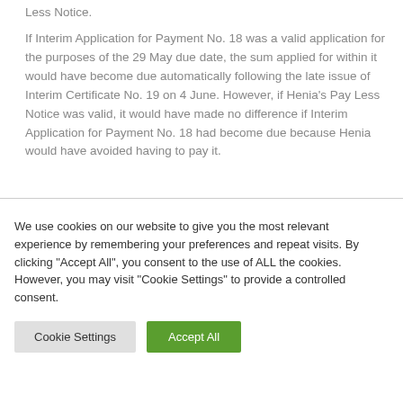Less Notice.
If Interim Application for Payment No. 18 was a valid application for the purposes of the 29 May due date, the sum applied for within it would have become due automatically following the late issue of Interim Certificate No. 19 on 4 June. However, if Henia's Pay Less Notice was valid, it would have made no difference if Interim Application for Payment No. 18 had become due because Henia would have avoided having to pay it.
We use cookies on our website to give you the most relevant experience by remembering your preferences and repeat visits. By clicking "Accept All", you consent to the use of ALL the cookies. However, you may visit "Cookie Settings" to provide a controlled consent.